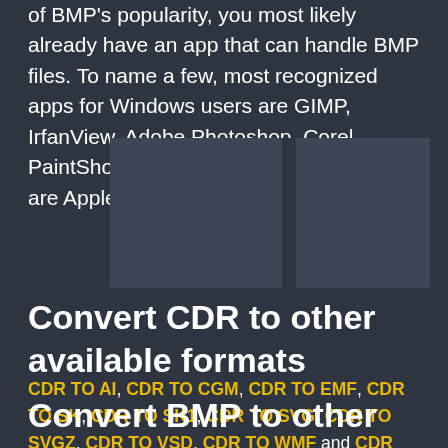of BMP's popularity, you most likely already have an app that can handle BMP files. To name a few, most recognized apps for Windows users are GIMP, IrfanView, Adobe Photoshop, Corel PaintShop Pro, etc., for Mac users, there are Apple Preview, Apple Photos, etc.
[Figure (other): Dark gray rectangular image placeholder area]
Convert CDR to other available formats
CDR TO AI, CDR TO CGM, CDR TO EMF, CDR TO SK, CDR TO SK1, CDR TO SVG, CDR TO SVGZ, CDR TO VSD, CDR TO WMF and CDR TO CDR.
Convert BMP to other